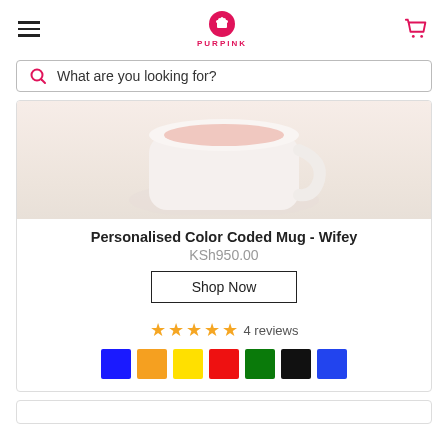PURPINK
What are you looking for?
[Figure (photo): Close-up photo of a white color coded mug with pink accents, partially visible from top]
Personalised Color Coded Mug - Wifey
KSh950.00
Shop Now
4 reviews
[Figure (illustration): Color swatches: blue, orange, yellow, red, green, black, blue]